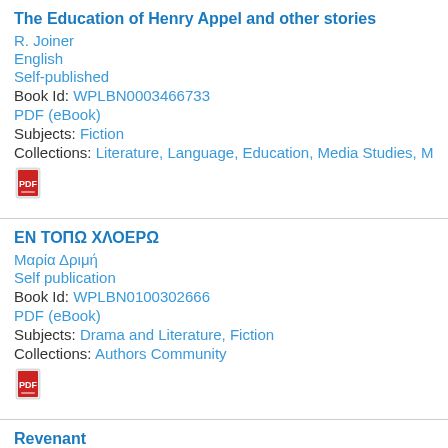The Education of Henry Appel and other stories
R. Joiner
English
Self-published
Book Id: WPLBN0003466733
PDF (eBook)
Subjects: Fiction
Collections: Literature, Language, Education, Media Studies, M
[Figure (other): PDF icon/logo]
ΕΝ ΤΟΠΩ ΧΛΟΕΡΩ
Μαρία Δριμή
Self publication
Book Id: WPLBN0100302666
PDF (eBook)
Subjects: Drama and Literature, Fiction
Collections: Authors Community
[Figure (other): PDF icon/logo]
Revenant